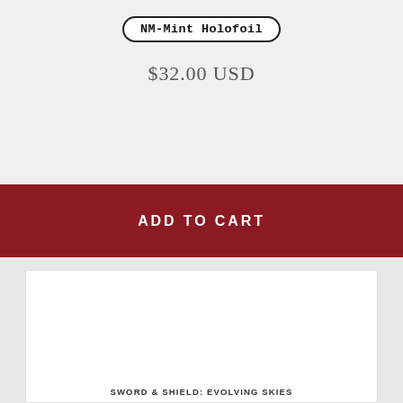NM-Mint Holofoil
$32.00 USD
ADD TO CART
[Figure (other): White card image placeholder area]
SWORD & SHIELD: EVOLVING SKIES